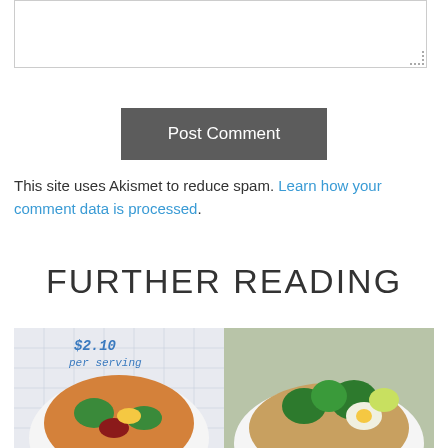[Figure (screenshot): Textarea input box with resize handle at bottom-right corner]
[Figure (screenshot): Dark gray 'Post Comment' button]
This site uses Akismet to reduce spam. Learn how your comment data is processed.
FURTHER READING
[Figure (photo): Two food bowls side by side. Left bowl shows a dish with broccoli, orange and dark ingredients with a price label '$2.10 per serving' written on a grid paper background. Right bowl shows broccoli, grains, and egg dish.]